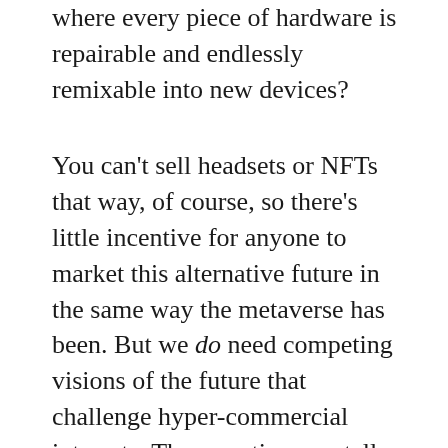where every piece of hardware is repairable and endlessly remixable into new devices?
You can't sell headsets or NFTs that way, of course, so there's little incentive for anyone to market this alternative future in the same way the metaverse has been. But we do need competing visions of the future that challenge hyper-commercial interests. The narratives we tell about the future really matter. The metaverse is a top-down, highly-financed commercial vision, which has partially gained